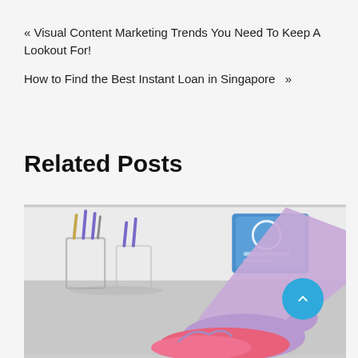« Visual Content Marketing Trends You Need To Keep A Lookout For!
How to Find the Best Instant Loan in Singapore »
Related Posts
[Figure (photo): A hand wearing a purple/lavender latex glove wiping a surface with a pink cloth. In the background are pencil holders and a blue box of gloves on a desk surface.]